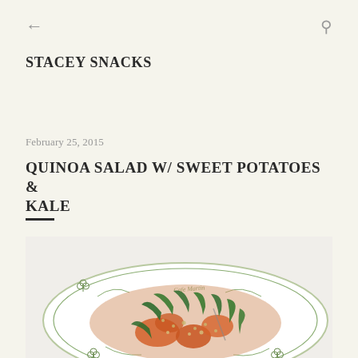← [back] [search]
STACEY SNACKS
February 25, 2015
QUINOA SALAD W/ SWEET POTATOES & KALE
[Figure (photo): A decorative plate with green shamrock/floral border design labeled 'Cafe Martin', containing a salad of quinoa, roasted sweet potatoes, and kale.]